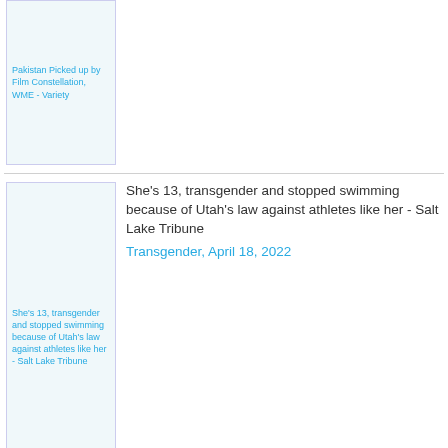Pakistan Picked up by Film Constellation, WME - Variety
She's 13, transgender and stopped swimming because of Utah's law against athletes like her - Salt Lake Tribune | Transgender, April 18, 2022
The Ladyboys of Bangkok heading for Crewe Lyceum - Nantwich News | Ladyboy, April 17, 2022